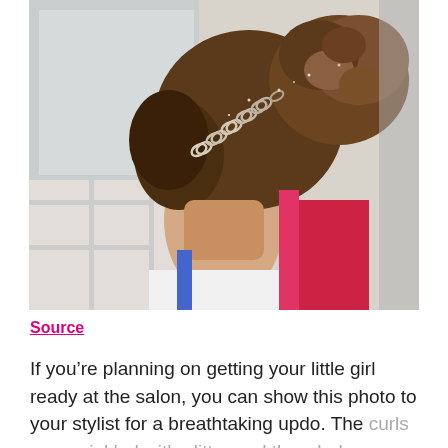[Figure (photo): Back view of a young girl's head showing an elegant updo hairstyle with a decorative diamond/crystal chain headband running across the top of her head. Her hair is styled in curls pinned up. She is wearing a white and pink top. The background shows a tiled room.]
Source
If you’re planning on getting your little girl ready at the salon, you can show this photo to your stylist for a breathtaking updo. The curls are sprinkled with glitter and the whole